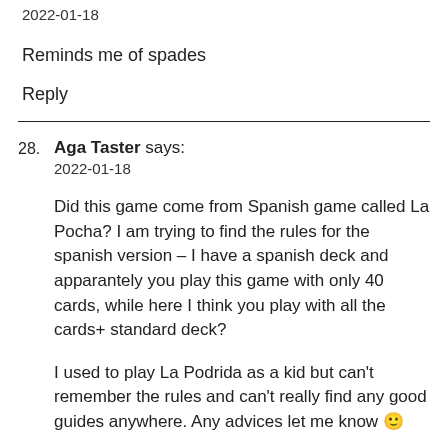2022-01-18
Reminds me of spades
Reply
28. Aga Taster says:
2022-01-18

Did this game come from Spanish game called La Pocha? I am trying to find the rules for the spanish version – I have a spanish deck and apparantely you play this game with only 40 cards, while here I think you play with all the cards+ standard deck?

I used to play La Podrida as a kid but can't remember the rules and can't really find any good guides anywhere. Any advices let me know 🙂